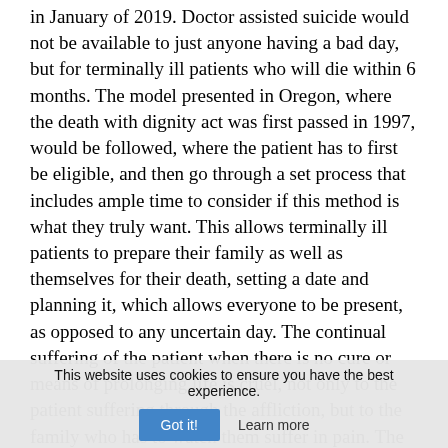in January of 2019. Doctor assisted suicide would not be available to just anyone having a bad day, but for terminally ill patients who will die within 6 months. The model presented in Oregon, where the death with dignity act was first passed in 1997, would be followed, where the patient has to first be eligible, and then go through a set process that includes ample time to consider if this method is what they truly want. This allows terminally ill patients to prepare their family as well as themselves for their death, setting a date and planning it, which allows everyone to be present, as opposed to any uncertain day. The continual suffering of the patient when there is no cure or means of prolonging life is cruel, not only to the patient suffering through the affliction, but to the family who has to watch them suffer in pain. The patient should not have to prolong their suffering and potentially dig their family
This website uses cookies to ensure you have the best experience.
Got it!   Learn more